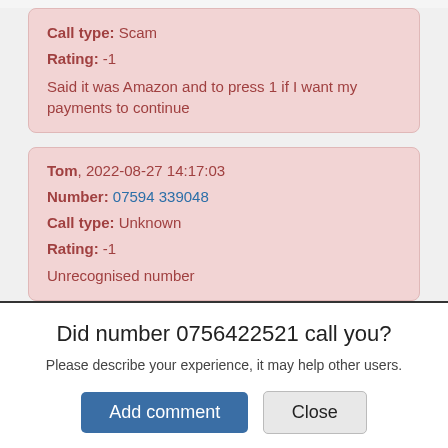Call type: Scam
Rating: -5
Said it was Amazon and to press 1 if I want my payments to continue
Tom, 2022-08-27 14:17:03
Number: 07594 339048
Call type: Unknown
Rating: -1
Unrecognised number
Brishe, 2022-08-27 13:51:07
Did number 0756422521 call you?
Please describe your experience, it may help other users.